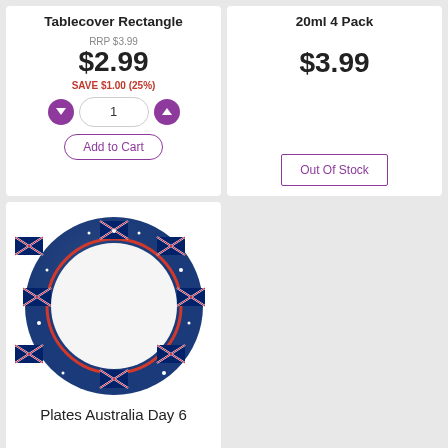Tablecover Rectangle
RRP $3.99
$2.99
SAVE $1.00 (25%)
1
Add to Cart
20ml 4 Pack
$3.99
Out Of Stock
[Figure (photo): Round plate with dark navy blue border decorated with Australian flags and stars, and a red inner ring, white center]
Plates Australia Day 6